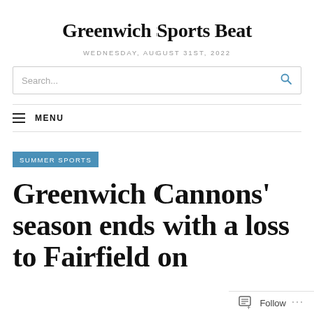Greenwich Sports Beat
WEDNESDAY, AUGUST 31ST, 2022
Search...
MENU
SUMMER SPORTS
Greenwich Cannons' season ends with a loss to Fairfield on